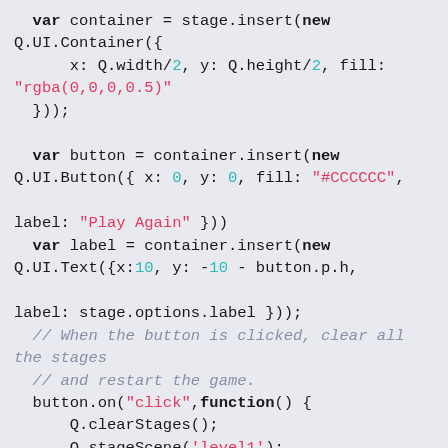Code snippet showing JavaScript game UI setup with container, button, label, click handler, and container.fit call